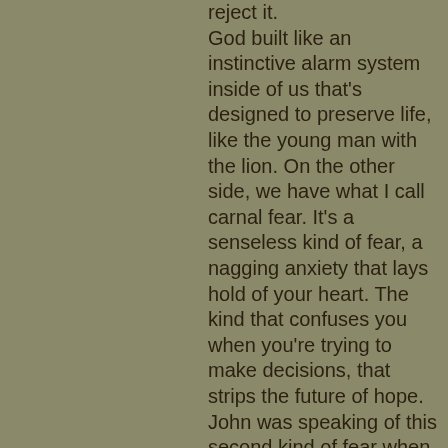reject it. God built like an instinctive alarm system inside of us that's designed to preserve life, like the young man with the lion. On the other side, we have what I call carnal fear. It's a senseless kind of fear, a nagging anxiety that lays hold of your heart. The kind that confuses you when you're trying to make decisions, that strips the future of hope. John was speaking of this second kind of fear when he wrote, “There is no fear in love; but perfect love casts out fear, because fear involves torment. But he who fears has not been